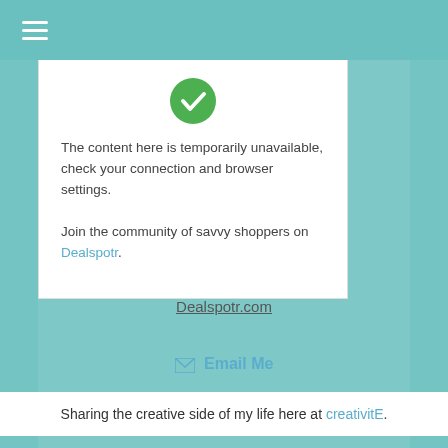≡
[Figure (illustration): Green circular checkmark/shield icon at top of content card]
The content here is temporarily unavailable, check your connection and browser settings.

Join the community of savvy shoppers on Dealspotr.
Dealspotr.com
✉ Email Me
Sharing the creative side of my life here at creativitE.